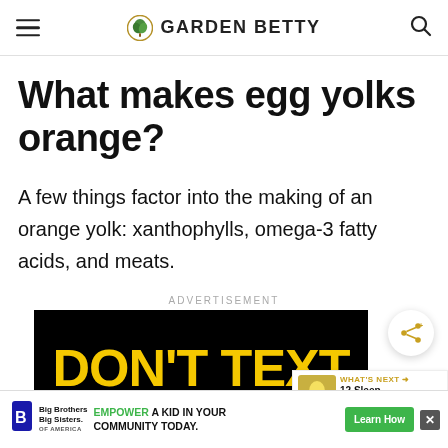GARDEN BETTY
What makes egg yolks orange?
A few things factor into the making of an orange yolk: xanthophylls, omega-3 fatty acids, and meats.
[Figure (infographic): Advertisement banner with yellow text 'DON'T TEXT' on black background]
[Figure (infographic): What's Next promo: '12 Sleep-Promoting...' with pineapple thumbnail]
[Figure (infographic): Lower ad bar: Big Brothers Big Sisters logo, 'EMPOWER A KID IN YOUR COMMUNITY TODAY.' with green Learn How button and close X button]